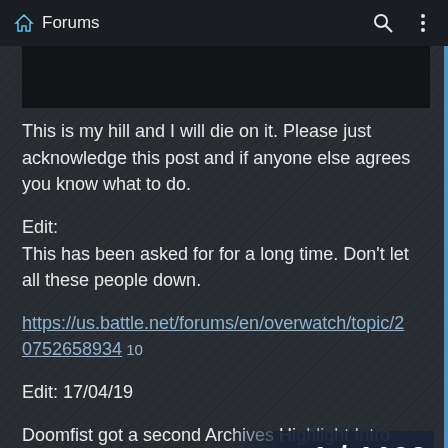Forums
[Figure (screenshot): Dark image area / embedded content preview]
This is my hill and I will die on it. Please just acknowledge this post and if anyone else agrees you know what to do.
Edit:
This has been asked for for a long time. Don't let all these people down.
https://us.battle.net/forums/en/overwatch/topic/20752658934  10
Edit: 17/04/19
Doomfist got a second Archives Highlight Intro
Symmetra got a voice line saying "who kno
1 / 1199